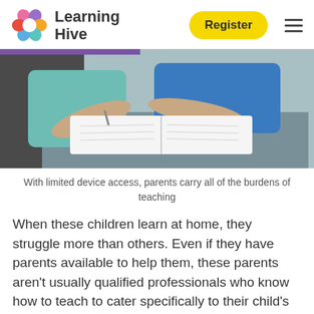Learning Hive | Register
[Figure (photo): Two adults sitting at a table, one in a teal shirt and one in a blue shirt, writing in open notebooks/workbooks together]
With limited device access, parents carry all of the burdens of teaching
When these children learn at home, they struggle more than others. Even if they have parents available to help them, these parents aren't usually qualified professionals who know how to teach to cater specifically to their child's needs.